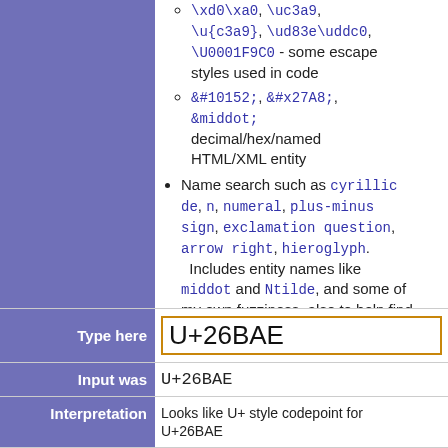\xd0\xa0, \uc3a9, \u{c3a9}, \ud83e\uddc0, \U0001F9C0 - some escape styles used in code
&#10152;, &#x27A8;, &middot; decimal/hex/named HTML/XML entity
Name search such as cyrillic de, n, numeral, plus-minus sign, exclamation question, arrow right, hieroglyph. Includes entity names like middot and Ntilde, and some of my own fuzziness, also to help find confusables.
|  |  |
| --- | --- |
| Type here | U+26BAE |
| Input was | U+26BAE |
| Interpretation | Looks like U+ style codepoint for U+26BAE |